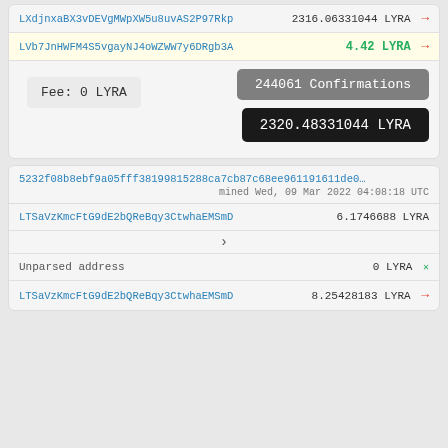LXdjnxaBX3vDEVgMWpXW5u8uvAS2P97Rkp
2316.06331044 LYRA →
LVb7JnHWFM4S5vgayNJ4oWZWW7y6DRgb3A
4.42 LYRA →
Fee: 0 LYRA
244061 Confirmations
2320.48331044 LYRA
5232f08b8ebf9a05fff38199815288ca7cb87c68ee961191611de0…
mined Wed, 09 Mar 2022 04:08:18 UTC
LTSaVzKmcFtG9dE2bQReBqy3CtwhaEMSmD
6.1746688 LYRA
Unparsed address
0 LYRA ×
LTSaVzKmcFtG9dE2bQReBqy3CtwhaEMSmD
8.25428183 LYRA →